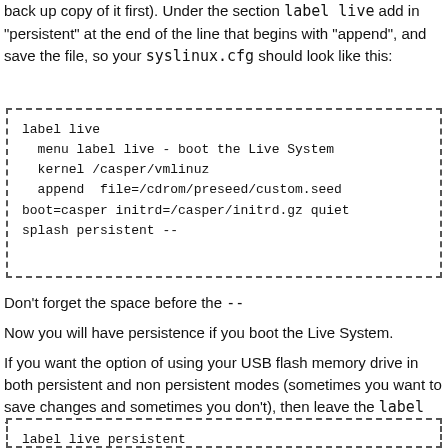back up copy of it first). Under the section label live add in "persistent" at the end of the line that begins with "append", and save the file, so your syslinux.cfg should look like this:
[Figure (screenshot): Code box with dashed border showing syslinux.cfg configuration: label live, menu label live - boot the Live System, kernel /casper/vmlinuz, append file=/cdrom/preseed/custom.seed boot=casper initrd=/casper/initrd.gz quiet splash persistent --]
Don't forget the space before the --
Now you will have persistence if you boot the Live System.
If you want the option of using your USB flash memory drive in both persistent and non persistent modes (sometimes you want to save changes and sometimes you don't), then leave the label live section alone and directly below it add the section
[Figure (screenshot): Code box with dashed border showing beginning of: label live persistent]